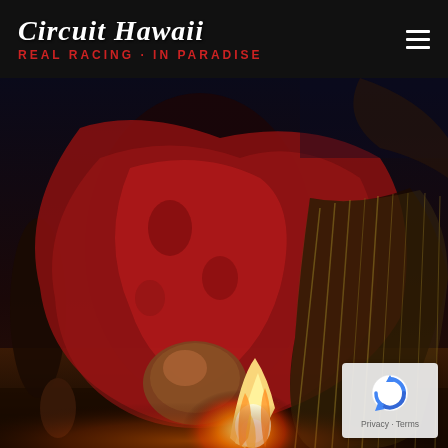Circuit Hawaii — Real Racing · In Paradise
[Figure (photo): A Hawaiian fire dancer kneeling close to ground with fire torch, wearing a red floral garment and grass skirt, illuminated by warm orange firelight at night on sandy ground.]
[Figure (logo): Google reCAPTCHA badge with blue recycling-arrow icon, showing Privacy and Terms links.]